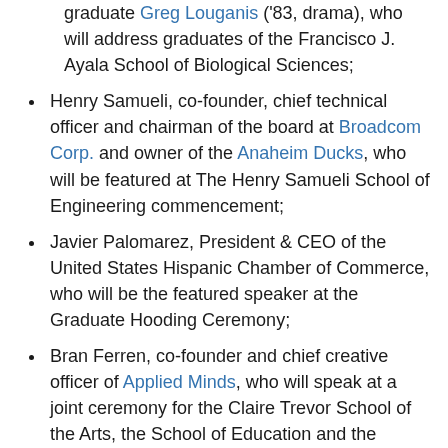graduate Greg Louganis ('83, drama), who will address graduates of the Francisco J. Ayala School of Biological Sciences;
Henry Samueli, co-founder, chief technical officer and chairman of the board at Broadcom Corp. and owner of the Anaheim Ducks, who will be featured at The Henry Samueli School of Engineering commencement;
Javier Palomarez, President & CEO of the United States Hispanic Chamber of Commerce, who will be the featured speaker at the Graduate Hooding Ceremony;
Bran Ferren, co-founder and chief creative officer of Applied Minds, who will speak at a joint ceremony for the Claire Trevor School of the Arts, the School of Education and the School of Physical Sciences;
The Honorable Maria Hernandez, presiding judge of Orange County's Juvenile Court, who will deliver an address at the School of Social